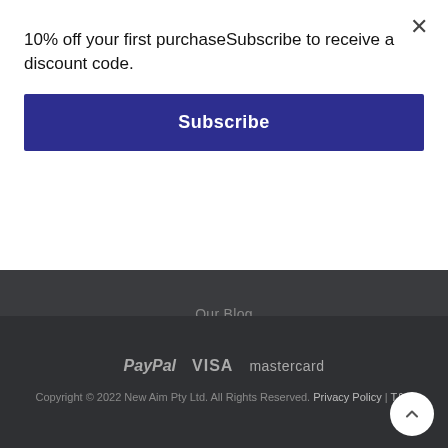10% off your first purchaseSubscribe to receive a discount code.
Subscribe
Our Blog
[Figure (logo): Everfit brand logo in white text on dark background]
[Figure (logo): Payment logos: PayPal, VISA, mastercard]
Copyright © 2022 New Aim Pty Ltd. All Rights Reserved. Privacy Policy | T&C